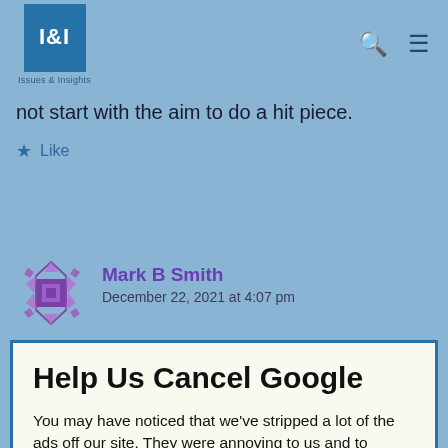I&I Issues & Insights
not start with the aim to do a hit piece.
Like
Mark B Smith
December 22, 2021 at 4:07 pm
Help Us Cancel Google
You may have noticed that we've stripped a lot of the ads off our site. They were annoying to us and to readers, and we especially hate dealing with Google's content police.
We'd rather rely on our readers to support our work directly than get pennies from giant ad networks.
We won't charge you to access our content, but you can help us keep this site going with a donation.